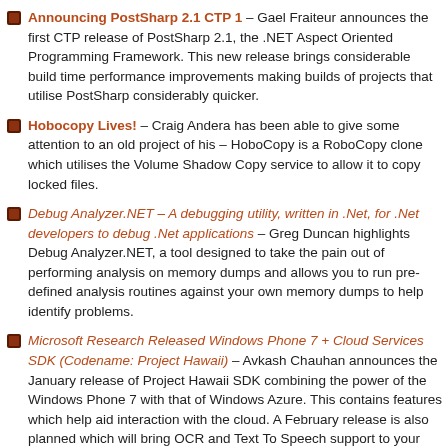Announcing PostSharp 2.1 CTP 1 – Gael Fraiteur announces the first CTP release of PostSharp 2.1, the .NET Aspect Oriented Programming Framework. This new release brings considerable build time performance improvements making builds of projects that utilise PostSharp considerably quicker.
Hobocopy Lives! – Craig Andera has been able to give some attention to an old project of his – HoboCopy is a RoboCopy clone which utilises the Volume Shadow Copy service to allow it to copy locked files.
Debug Analyzer.NET – A debugging utility, written in .Net, for .Net developers to debug .Net applications – Greg Duncan highlights Debug Analyzer.NET, a tool designed to take the pain out of performing analysis on memory dumps and allows you to run pre-defined analysis routines against your own memory dumps to help identify problems.
Microsoft Research Released Windows Phone 7 + Cloud Services SDK (Codename: Project Hawaii) – Avkash Chauhan announces the January release of Project Hawaii SDK combining the power of the Windows Phone 7 with that of Windows Azure. This contains features which help aid interaction with the cloud. A February release is also planned which will bring OCR and Text To Speech support to your mobile application.
GPS Emulator for Windows Phone 7 – Joey deVilla highlights the Windows Phone 7 GPS Emulator, a wonderful looking tool to help develop Windows Phone applications that utilise the GPS from the comfort of the Windows Phone Emulator.
Information
Code metrics from the command line – Cameron Skinner highlights the release of a CodeMetrics power toy which brings an .exe tool which can calculate the code metrics.